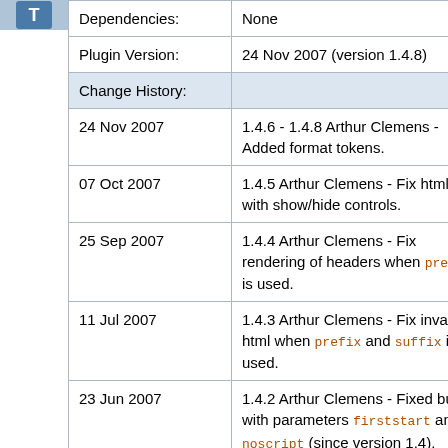| Dependencies: | None |
| Plugin Version: | 24 Nov 2007 (version 1.4.8) |
| Change History: |  |
| 24 Nov 2007 | 1.4.6 - 1.4.8 Arthur Clemens - Added format tokens. |
| 07 Oct 2007 | 1.4.5 Arthur Clemens - Fix html tag with show/hide controls. |
| 25 Sep 2007 | 1.4.4 Arthur Clemens - Fix rendering of headers when prefix is used. |
| 11 Jul 2007 | 1.4.3 Arthur Clemens - Fix invalid html when prefix and suffix is used. |
| 23 Jun 2007 | 1.4.2 Arthur Clemens - Fixed bugs with parameters firststart and noscript (since version 1.4). |
| 20 Jun 2007 | 1.4 Arthur Clemens - Updated to work without ugly inserted javascript 'init' calls. This will change nothing to the functionality, but it will produce cleaner HTML, while at the same time the twisty is still not immediately (not at page reload) |